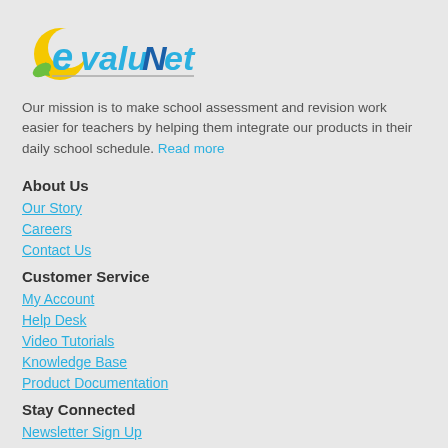[Figure (logo): EvaluNet logo with colorful lettering and a crescent/leaf icon]
Our mission is to make school assessment and revision work easier for teachers by helping them integrate our products in their daily school schedule. Read more
About Us
Our Story
Careers
Contact Us
Customer Service
My Account
Help Desk
Video Tutorials
Knowledge Base
Product Documentation
Stay Connected
Newsletter Sign Up